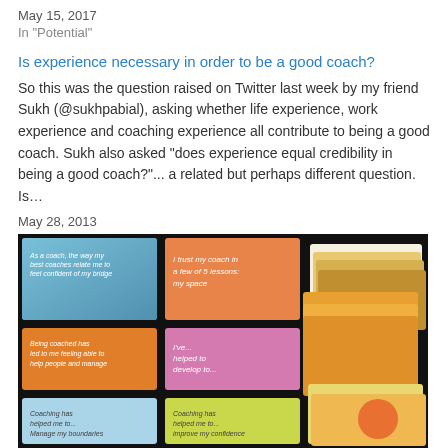May 15, 2017
In "Potential"
Is experience necessary in order to be a good coach?
So this was the question raised on Twitter last week by my friend Sukh (@sukhpabial), asking whether life experience, work experience and coaching experience all contribute to being a good coach. Sukh also asked "does experience equal credibility in being a good coach?"... a related but perhaps different question. Is…
May 28, 2013
In "Performance"
[Figure (photo): Photo of colorful coaching cards laid out on a dark surface. Cards have various coaching questions printed on them, some stacked on the right side. Colors include orange, blue, green, and yellow.]